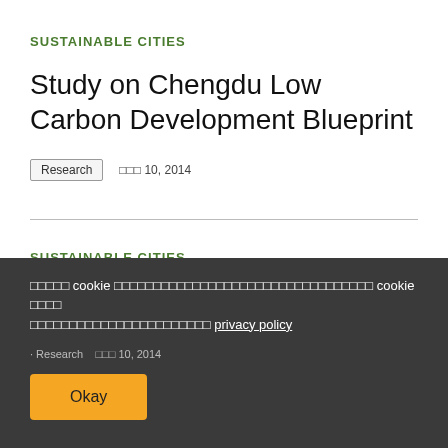SUSTAINABLE CITIES
Study on Chengdu Low Carbon Development Blueprint
Research   □□□ 10, 2014
SUSTAINABLE CITIES
Study on Chengdu Low Carbon Development Blueprint
□□□□□ cookie □□□□□□□□□□□□□□□□□□□□□□□□□□□□□□□□□ cookie □□□□ □□□□□□□□□□□□□□□□□□□□□□□ privacy policy
Research   □□□ 10, 2014
Okay